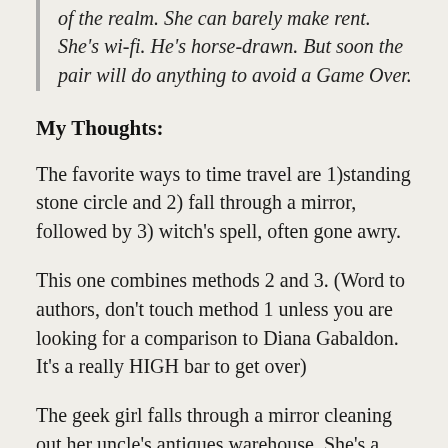of the realm. She can barely make rent. She's wi-fi. He's horse-drawn. But soon the pair will do anything to avoid a Game Over.
My Thoughts:
The favorite ways to time travel are 1)standing stone circle and 2) fall through a mirror, followed by 3) witch's spell, often gone awry.
This one combines methods 2 and 3. (Word to authors, don't touch method 1 unless you are looking for a comparison to Diana Gabaldon. It's a really HIGH bar to get over)
The geek girl falls through a mirror cleaning out her uncle's antiques warehouse. She's a geek of the “too cool” school, up on all the latest gadgets. Her iPhone comes with her to the 19th century. Lucky for her it's